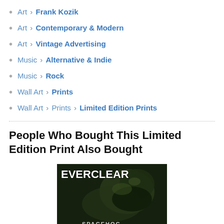Art › Frank Kozik
Art › Contemporary & Modern
Art › Vintage Advertising
Music › Alternative & Indie
Music › Rock
Wall Art › Prints
Wall Art › Prints › Limited Edition Prints
People Who Bought This Limited Edition Print Also Bought
[Figure (photo): Product image showing an album art or poster with 'EVERCLEAR' text in bold white letters at top and 'SPACEHOG' text at bottom, with a dark green/black toned image of what appears to be a creature or organic form in the background.]